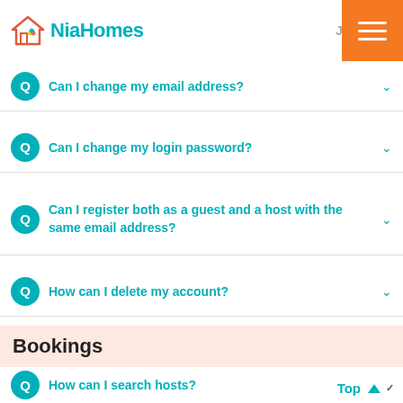[Figure (logo): NiaHomes logo with house icon and teal text]
Can I change my email address?
Can I change my login password?
Can I register both as a guest and a host with the same email address?
How can I delete my account?
Bookings
How can I search hosts?